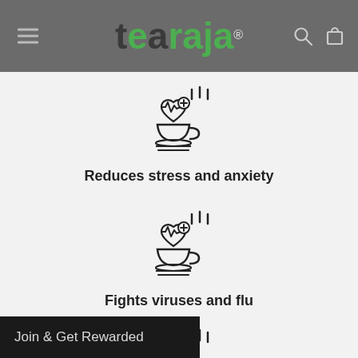[Figure (logo): Tearaja logo with green leaf on 't', text 'tearaja' in mixed dark/green, registered trademark symbol]
[Figure (illustration): Medical tea cup icon with heart/ECG and steam — Reduces stress and anxiety]
Reduces stress and anxiety
[Figure (illustration): Medical tea cup icon with heart/ECG and steam — Fights viruses and flu]
Fights viruses and flu
[Figure (illustration): Medical tea cup icon with heart/ECG and steam — third benefit]
Join & Get Rewarded